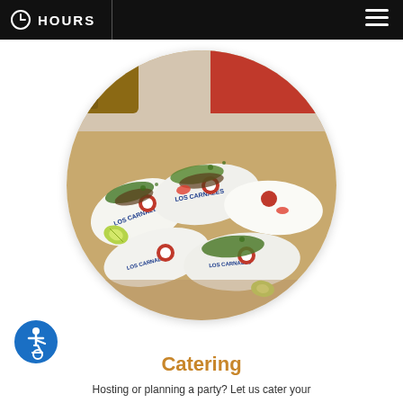HOURS
[Figure (photo): Circular photo of multiple tacos wrapped in branded 'Los Carnales' paper with guacamole and lime on a table, restaurant interior visible in background]
Catering
Hosting or planning a party? Let us cater your